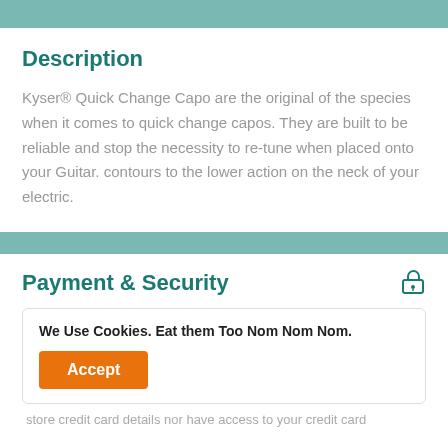Description
Kyser® Quick Change Capo are the original of the species when it comes to quick change capos. They are built to be reliable and stop the necessity to re-tune when placed onto your Guitar. contours to the lower action on the neck of your electric.
Payment & Security
We Use Cookies. Eat them Too Nom Nom Nom.
store credit card details nor have access to your credit card